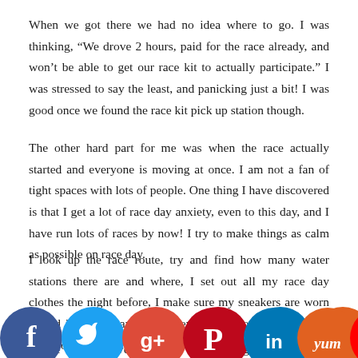When we got there we had no idea where to go. I was thinking, “We drove 2 hours, paid for the race already, and won’t be able to get our race kit to actually participate.” I was stressed to say the least, and panicking just a bit! I was good once we found the race kit pick up station though.
The other hard part for me was when the race actually started and everyone is moving at once. I am not a fan of tight spaces with lots of people. One thing I have discovered is that I get a lot of race day anxiety, even to this day, and I have run lots of races by now! I try to make things as calm as possible on race day.
I look up the race route, try and find how many water stations there are and where, I set out all my race day clothes the night before, I make sure my sneakers are worn in and in good shape… Whatever I can do to make things easier on myself!
In the end… Have fun! Don’t take things too seriously, especially for
[Figure (infographic): Social media sharing icons row: Facebook (blue), Twitter (blue), Google+ (red-orange), Pinterest (red), LinkedIn (blue), Yummly (orange), Flipboard (red), and a crown icon (dark blue), all as circular buttons overlapping slightly at the bottom of the page.]